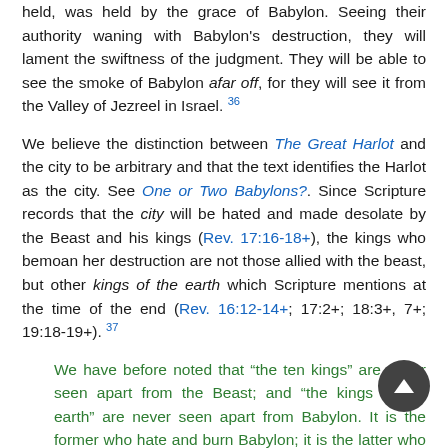held, was held by the grace of Babylon. Seeing their authority waning with Babylon's destruction, they will lament the swiftness of the judgment. They will be able to see the smoke of Babylon afar off, for they will see it from the Valley of Jezreel in Israel. 36
We believe the distinction between The Great Harlot and the city to be arbitrary and that the text identifies the Harlot as the city. See One or Two Babylons?. Since Scripture records that the city will be hated and made desolate by the Beast and his kings (Rev. 17:16-18+), the kings who bemoan her destruction are not those allied with the beast, but other kings of the earth which Scripture mentions at the time of the end (Rev. 16:12-14+; 17:2+; 18:3+, 7+; 19:18-19+). 37
We have before noted that “the ten kings” are never seen apart from the Beast; and “the kings of the earth” are never seen apart from Babylon. It is the former who hate and burn Babylon; it is the latter who weep and wail over her. In both chapters (Rev. 17+ and 18+) the city is called